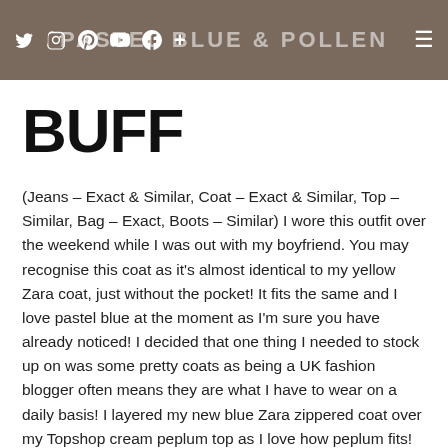PASTEL BLUE & POLLEN
BUFF
(Jeans – Exact & Similar, Coat – Exact & Similar, Top – Similar, Bag – Exact, Boots – Similar) I wore this outfit over the weekend while I was out with my boyfriend. You may recognise this coat as it's almost identical to my yellow Zara coat, just without the pocket! It fits the same and I love pastel blue at the moment as I'm sure you have already noticed! I decided that one thing I needed to stock up on was some pretty coats as being a UK fashion blogger often means they are what I have to wear on a daily basis! I layered my new blue Zara zippered coat over my Topshop cream peplum top as I love how peplum fits! It's so flattering to the figure in my opinion! For my jeans, I went with my new dream jeans which I am in love with! My Rag & Bone The Skinny in Sonoma! I got these a couple of weeks ago